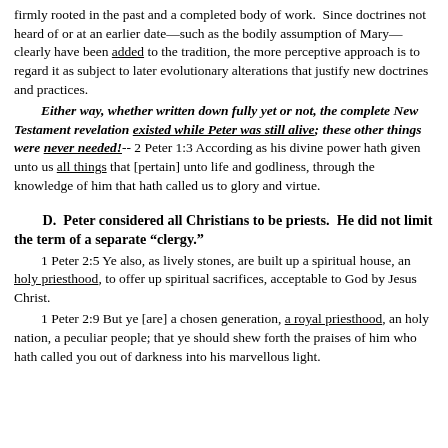firmly rooted in the past and a completed body of work. Since doctrines not heard of or at an earlier date—such as the bodily assumption of Mary—clearly have been added to the tradition, the more perceptive approach is to regard it as subject to later evolutionary alterations that justify new doctrines and practices.
Either way, whether written down fully yet or not, the complete New Testament revelation existed while Peter was still alive; these other things were never needed!-- 2 Peter 1:3 According as his divine power hath given unto us all things that [pertain] unto life and godliness, through the knowledge of him that hath called us to glory and virtue.
D. Peter considered all Christians to be priests. He did not limit the term of a separate "clergy."
1 Peter 2:5 Ye also, as lively stones, are built up a spiritual house, an holy priesthood, to offer up spiritual sacrifices, acceptable to God by Jesus Christ.
1 Peter 2:9 But ye [are] a chosen generation, a royal priesthood, an holy nation, a peculiar people; that ye should shew forth the praises of him who hath called you out of darkness into his marvellous light.